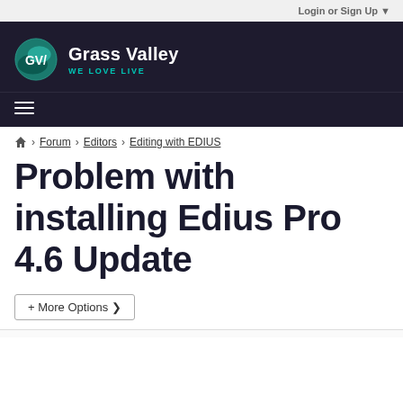Login or Sign Up
[Figure (logo): Grass Valley logo with GV circular icon and tagline WE LOVE LIVE on dark background header]
Forum > Editors > Editing with EDIUS
Problem with installing Edius Pro 4.6 Update
+ More Options